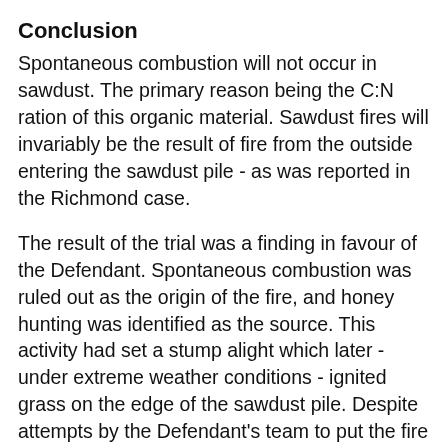Conclusion
Spontaneous combustion will not occur in sawdust. The primary reason being the C:N ration of this organic material. Sawdust fires will invariably be the result of fire from the outside entering the sawdust pile - as was reported in the Richmond case.
The result of the trial was a finding in favour of the Defendant. Spontaneous combustion was ruled out as the origin of the fire, and honey hunting was identified as the source. This activity had set a stump alight which later - under extreme weather conditions - ignited grass on the edge of the sawdust pile. Despite attempts by the Defendant's team to put the fire out, it swept across the sawdust